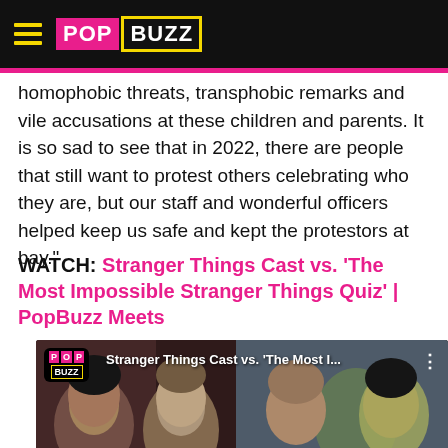PopBuzz
homophobic threats, transphobic remarks and vile accusations at these children and parents. It is so sad to see that in 2022, there are people that still want to protest others celebrating who they are, but our staff and wonderful officers helped keep us safe and kept the protestors at bay."
WATCH: Stranger Things Cast vs. 'The Most Impossible Stranger Things Quiz' | PopBuzz Meets
[Figure (screenshot): YouTube video thumbnail showing the Stranger Things cast with the PopBuzz logo overlay and a red YouTube play button. Title text reads: Stranger Things Cast vs. 'The Most I...']